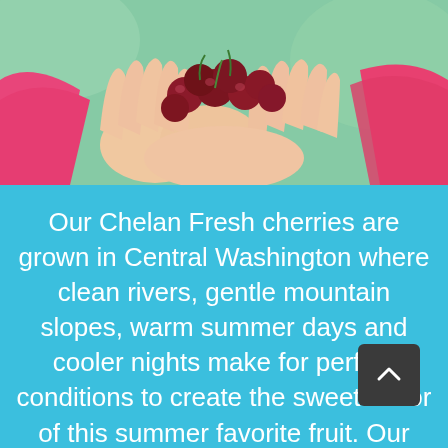[Figure (photo): Close-up photo of hands (wearing a pink sleeve) cupping dark red cherries, with a blurred green background.]
Our Chelan Fresh cherries are grown in Central Washington where clean rivers, gentle mountain slopes, warm summer days and cooler nights make for perfect conditions to create the sweet flavor of this summer favorite fruit. Our cherries are grown by 3rd and 4th generation family farmers who are passionate about the